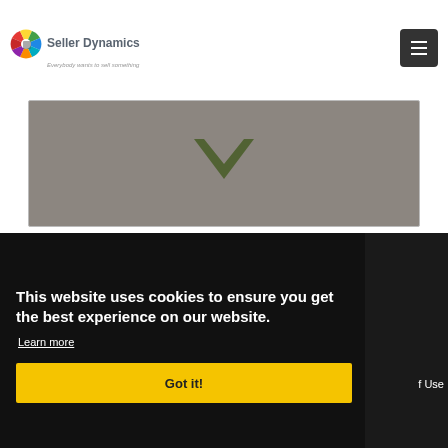Seller Dynamics — Everybody wants to sell something
[Figure (screenshot): Grey background panel with a dark olive/green downward-pointing chevron/check shape visible at top center]
This website uses cookies to ensure you get the best experience on our website.
Learn more
Got it!
f Use